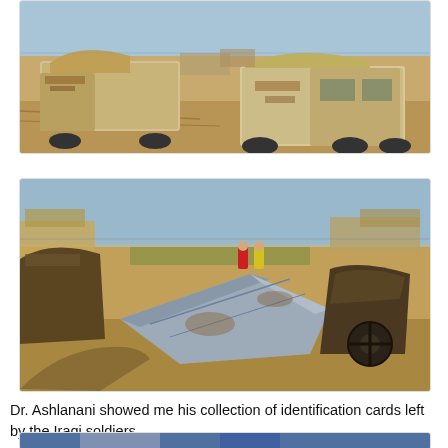[Figure (photo): Destroyed and burned-out military trucks and vehicles on flat desert terrain under a blue sky.]
[Figure (photo): Wreckage of destroyed military equipment including aircraft tail/wing sections and burned vehicles on desert ground. Two people in red and yellow jackets visible in background. Shadow of photographer in foreground.]
Dr. Ashlanani showed me his collection of identification cards left by the Iraqi soldiers
[Figure (photo): Partial view of another photo at bottom of page, cut off.]